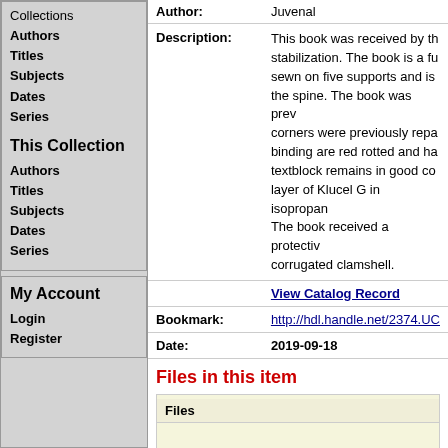Collections
Authors
Titles
Subjects
Dates
Series
This Collection
Authors
Titles
Subjects
Dates
Series
My Account
Login
Register
| Field | Value |
| --- | --- |
| Author: | Juvenal |
| Description: | This book was received by th... stabilization. The book is a fu... sewn on five supports and is... the spine. The book was prev... corners were previously repa... binding are red rotted and ha... textblock remains in good co... layer of Klucel G in isopropan... The book received a protectiv... corrugated clamshell. |
|  | View Catalog Record |
| Bookmark: | http://hdl.handle.net/2374.UC... |
| Date: | 2019-09-18 |
Files in this item
| Files |
| --- |
| i24021970_2251_TheSatires_AbrvTrtRpt.p... |